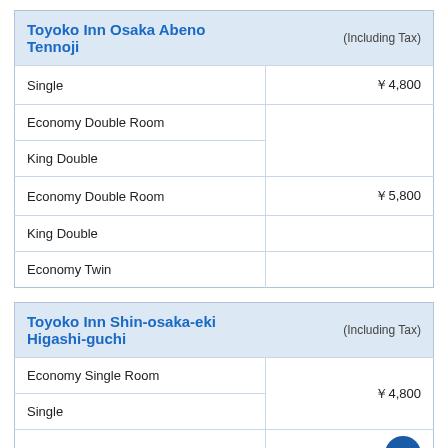| Toyoko Inn Osaka Abeno Tennoji | (Including Tax) |
| --- | --- |
| Single | ￥4,800 |
| Economy Double Room |  |
| King Double | ￥5,800 |
| Economy Twin |  |
| Toyoko Inn Shin-osaka-eki Higashi-guchi | (Including Tax) |
| --- | --- |
| Economy Single Room |  |
| Single | ￥4,800 |
| Economy Double Room |  |
| King Double | ￥5,800 |